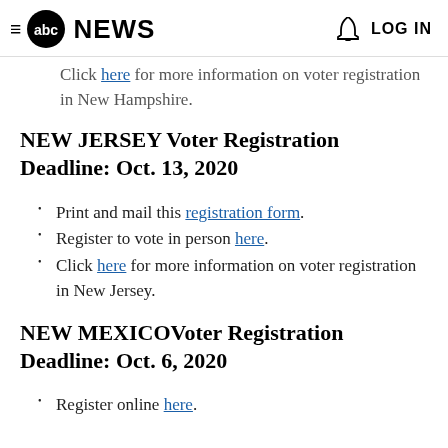abc NEWS  LOG IN
Click here for more information on voter registration in New Hampshire.
NEW JERSEY Voter Registration Deadline: Oct. 13, 2020
Print and mail this registration form.
Register to vote in person here.
Click here for more information on voter registration in New Jersey.
NEW MEXICOVoter Registration Deadline: Oct. 6, 2020
Register online here.